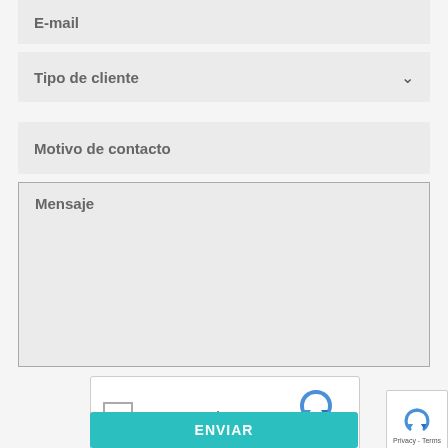E-mail
Tipo de cliente
Motivo de contacto
Mensaje
[Figure (screenshot): reCAPTCHA widget with checkbox labeled I'm not a robot, reCAPTCHA logo, Privacy and Terms links]
[Figure (screenshot): Small reCAPTCHA logo widget on the right side showing Privacy - Terms]
ENVIAR